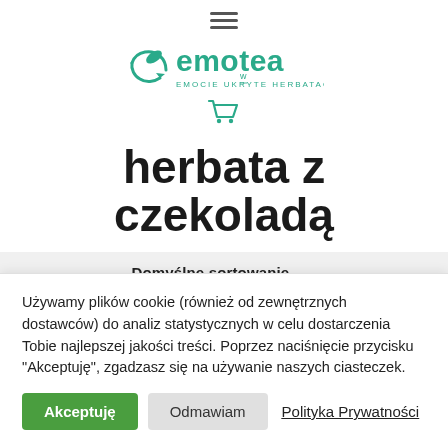[Figure (logo): Emotea logo with text 'EMOCIE UKRYTE W HERBATACH' and shopping cart icon]
herbata z czekoladą
Domyślne sortowanie
Używamy plików cookie (również od zewnętrznych dostawców) do analiz statystycznych w celu dostarczenia Tobie najlepszej jakości treści. Poprzez naciśnięcie przycisku "Akceptuję", zgadzasz się na używanie naszych ciasteczek.
Akceptuję  Odmawiam  Polityka Prywatności